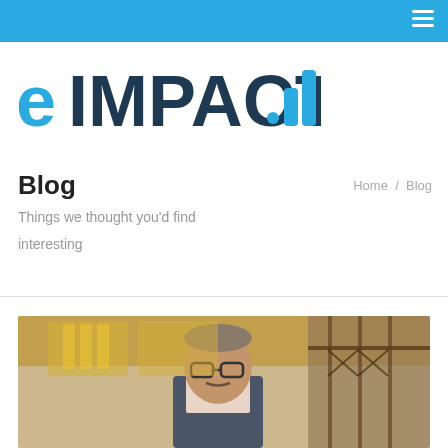eIMPACT.it — navigation bar with hamburger menu
[Figure (logo): eIMPACT logo: 'e' in sky blue, 'IMPACT' in dark navy, '.it' with two bar chart bars in blue]
Blog
Home / Blog
Things we thought you'd find interesting
[Figure (photo): Portrait photo of an older man with glasses standing on a staircase in a grand building with decorative golden windows and ornate railings]